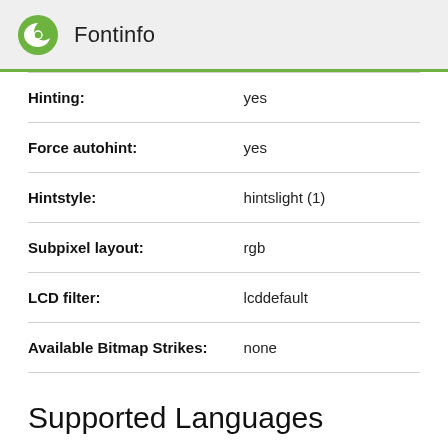Fontinfo
| Property | Value |
| --- | --- |
| Hinting: | yes |
| Force autohint: | yes |
| Hintstyle: | hintslight (1) |
| Subpixel layout: | rgb |
| LCD filter: | lcddefault |
| Available Bitmap Strikes: | none |
Supported Languages